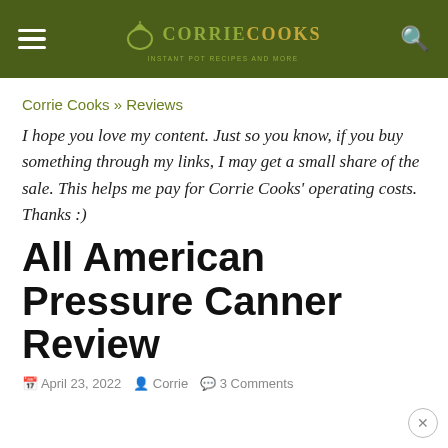Corrie Cooks — navigation header with hamburger menu, logo, and search icon
Corrie Cooks » Reviews
I hope you love my content. Just so you know, if you buy something through my links, I may get a small share of the sale. This helps me pay for Corrie Cooks' operating costs. Thanks :)
All American Pressure Canner Review
April 23, 2022   Corrie   3 Comments